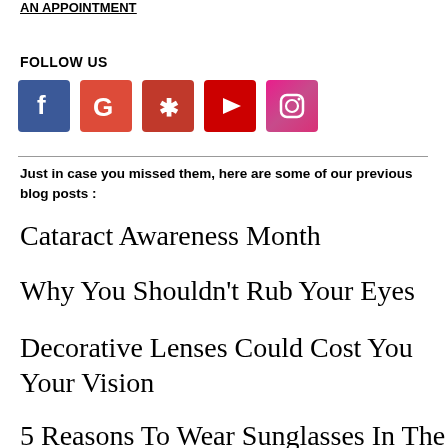AN APPOINTMENT
FOLLOW US
[Figure (other): Social media icons: Facebook, Google, Yelp, YouTube, Instagram]
Just in case you missed them, here are some of our previous blog posts :
Cataract Awareness Month
Why You Shouldn't Rub Your Eyes
Decorative Lenses Could Cost You Your Vision
5 Reasons To Wear Sunglasses In The Fall